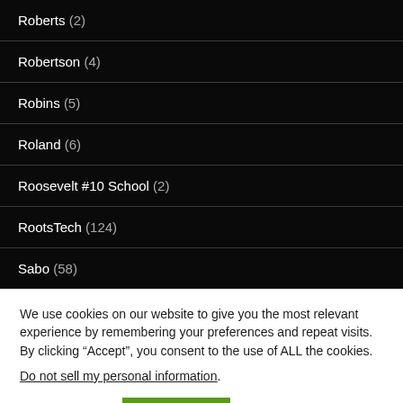Roberts (2)
Robertson (4)
Robins (5)
Roland (6)
Roosevelt #10 School (2)
RootsTech (124)
Sabo (58)
We use cookies on our website to give you the most relevant experience by remembering your preferences and repeat visits. By clicking “Accept”, you consent to the use of ALL the cookies. Do not sell my personal information.
Cookie settings  ACCEPT